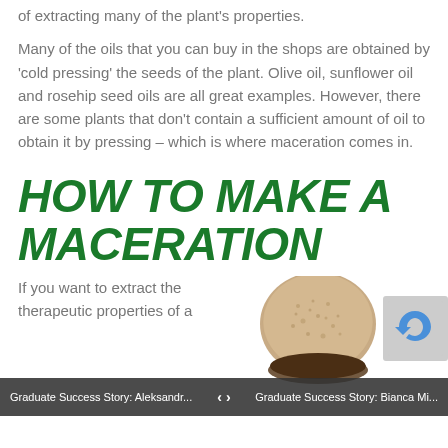of extracting many of the plant's properties.
Many of the oils that you can buy in the shops are obtained by 'cold pressing' the seeds of the plant. Olive oil, sunflower oil and rosehip seed oils are all great examples. However, there are some plants that don't contain a sufficient amount of oil to obtain it by pressing – which is where maceration comes in.
HOW TO MAKE A MACERATION
If you want to extract the therapeutic properties of a
[Figure (photo): A round seed or spice disc, brown and textured, viewed from above]
[Figure (other): reCAPTCHA widget box]
Graduate Success Story: Aleksandr... | < > | Graduate Success Story: Bianca Mi...